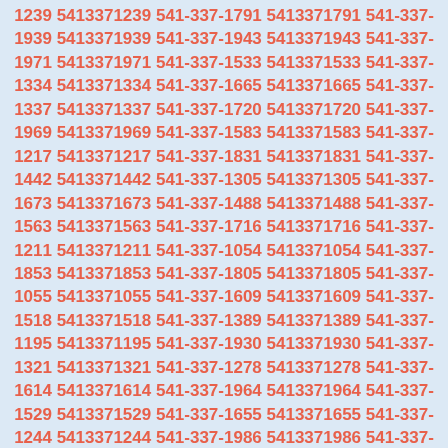1239 5413371239 541-337-1791 5413371791 541-337-1939 5413371939 541-337-1943 5413371943 541-337-1971 5413371971 541-337-1533 5413371533 541-337-1334 5413371334 541-337-1665 5413371665 541-337-1337 5413371337 541-337-1720 5413371720 541-337-1969 5413371969 541-337-1583 5413371583 541-337-1217 5413371217 541-337-1831 5413371831 541-337-1442 5413371442 541-337-1305 5413371305 541-337-1673 5413371673 541-337-1488 5413371488 541-337-1563 5413371563 541-337-1716 5413371716 541-337-1211 5413371211 541-337-1054 5413371054 541-337-1853 5413371853 541-337-1805 5413371805 541-337-1055 5413371055 541-337-1609 5413371609 541-337-1518 5413371518 541-337-1389 5413371389 541-337-1195 5413371195 541-337-1930 5413371930 541-337-1321 5413371321 541-337-1278 5413371278 541-337-1614 5413371614 541-337-1964 5413371964 541-337-1529 5413371529 541-337-1655 5413371655 541-337-1244 5413371244 541-337-1986 5413371986 541-337-1043 5413371043 541-337-1630 5413371630 541-337-1356 5413371356 541-337-1737 5413371737 541-337-1711 5413371711 541-337-1047 5413371047 541-